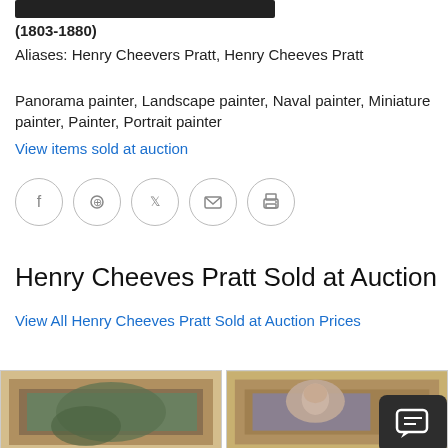(1803-1880)
Aliases: Henry Cheevers Pratt, Henry Cheeves Pratt
Panorama painter, Landscape painter, Naval painter, Miniature painter, Painter, Portrait painter
View items sold at auction
[Figure (other): Social media share icons in circles: Facebook, Pinterest, Twitter, Email, Print]
Henry Cheeves Pratt Sold at Auction
View All Henry Cheeves Pratt Sold at Auction Prices
[Figure (photo): Two framed paintings in gold frames partially visible at the bottom of the page. Left shows a figure, right shows a portrait of a woman.]